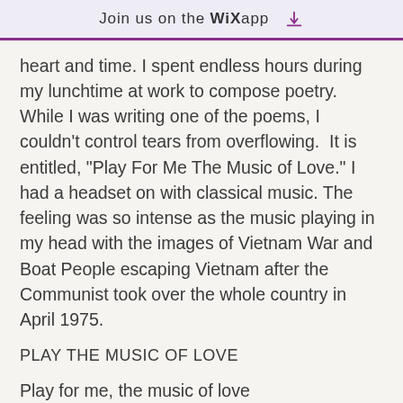Join us on the WiX app ⬇
heart and time. I spent endless hours during my lunchtime at work to compose poetry. While I was writing one of the poems, I couldn't control tears from overflowing.  It is entitled, "Play For Me The Music of Love." I had a headset on with classical music. The feeling was so intense as the music playing in my head with the images of Vietnam War and Boat People escaping Vietnam after the Communist took over the whole country in April 1975.
PLAY THE MUSIC OF LOVE
Play for me, the music of love